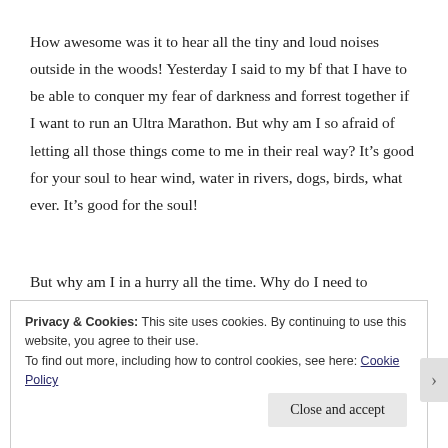How awesome was it to hear all the tiny and loud noises outside in the woods! Yesterday I said to my bf that I have to be able to conquer my fear of darkness and forrest together if I want to run an Ultra Marathon. But why am I so afraid of letting all those things come to me in their real way? It's good for your soul to hear wind, water in rivers, dogs, birds, what ever. It's good for the soul!
But why am I in a hurry all the time. Why do I need to
Privacy & Cookies: This site uses cookies. By continuing to use this website, you agree to their use.
To find out more, including how to control cookies, see here: Cookie Policy